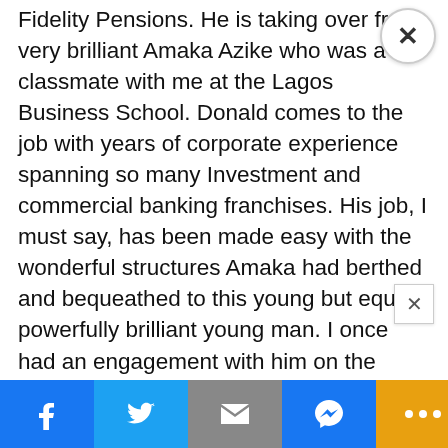Fidelity Pensions. He is taking over from very brilliant Amaka Azike who was a classmate with me at the Lagos Business School. Donald comes to the job with years of corporate experience spanning so many Investment and commercial banking franchises. His job, I must say, has been made easy with the wonderful structures Amaka had berthed and bequeathed to this young but equally powerfully brilliant young man. I once had an engagement with him on the pension industry and its continued relevance in the system especially as you see that returns on the PFA accounts are not doing very well when compared to the rate of inflation.
[Figure (other): Social media share bar at the bottom with Facebook, Twitter, Mail, Messenger, More buttons and NEXT ARTICLE link]